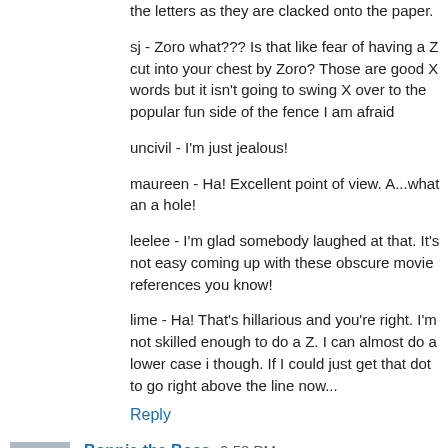the letters as they are clacked onto the paper.
sj - Zoro what??? Is that like fear of having a Z cut into your chest by Zoro? Those are good X words but it isn't going to swing X over to the popular fun side of the fence I am afraid
uncivil - I'm just jealous!
maureen - Ha! Excellent point of view. A...what an a hole!
leelee - I'm glad somebody laughed at that. It's not easy coming up with these obscure movie references you know!
lime - Ha! That's hillarious and you're right. I'm not skilled enough to do a Z. I can almost do a lower case i though. If I could just get that dot to go right above the line now...
Reply
Bonnie the Boss 9:58 PM
N has spent way too much time reserching the subject.
We always played the alphabet game on the way to my